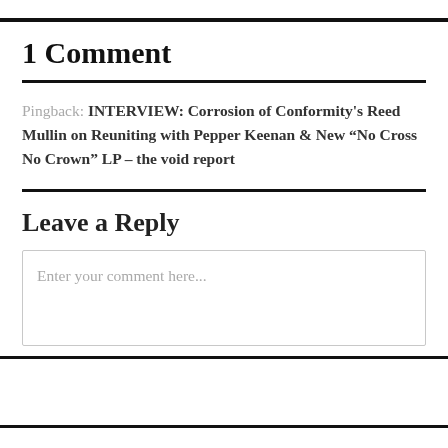1 Comment
Pingback: INTERVIEW: Corrosion of Conformity's Reed Mullin on Reuniting with Pepper Keenan & New “No Cross No Crown” LP – the void report
Leave a Reply
Enter your comment here...